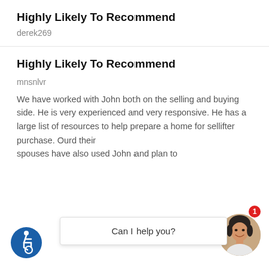Highly Likely To Recommend
derek269
Highly Likely To Recommend
mnsnlvr
We have worked with John both on the selling and buying side. He is very experienced and very responsive. He has a large list of resources to help prepare a home for selli... after purchase. Our... their spouses have also used John and plan to
[Figure (illustration): Blue circular accessibility icon with wheelchair symbol in white]
[Figure (photo): Round avatar photo of smiling woman with dark hair, with red notification badge showing '1']
Can I help you?